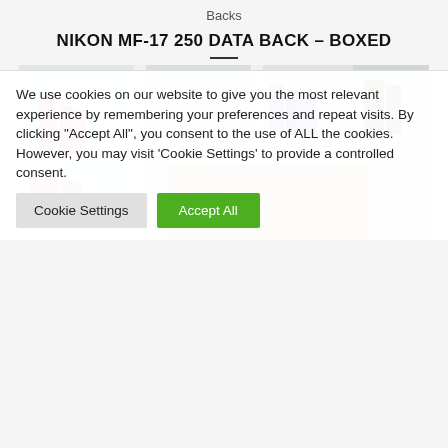Backs
NIKON MF-17 250 DATA BACK – BOXED
[Figure (photo): Product photo of Nikon MF-17 250 Data Back box against a white bookshelf background]
We use cookies on our website to give you the most relevant experience by remembering your preferences and repeat visits. By clicking "Accept All", you consent to the use of ALL the cookies. However, you may visit 'Cookie Settings' to provide a controlled consent.
Cookie Settings | Accept All